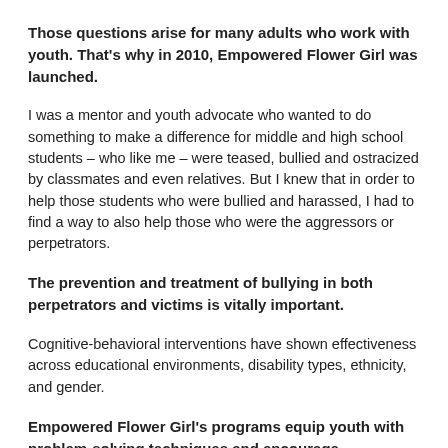Those questions arise for many adults who work with youth. That's why in 2010, Empowered Flower Girl was launched.
I was a mentor and youth advocate who wanted to do something to make a difference for middle and high school students – who like me – were teased, bullied and ostracized by classmates and even relatives. But I knew that in order to help those students who were bullied and harassed, I had to find a way to also help those who were the aggressors or perpetrators.
The prevention and treatment of bullying in both perpetrators and victims is vitally important.
Cognitive-behavioral interventions have shown effectiveness across educational environments, disability types, ethnicity, and gender.
Empowered Flower Girl's programs equip youth with problem-solving techniques and encourage transformation and acceptance.
Ultimately, we believe that if students are equipped with the